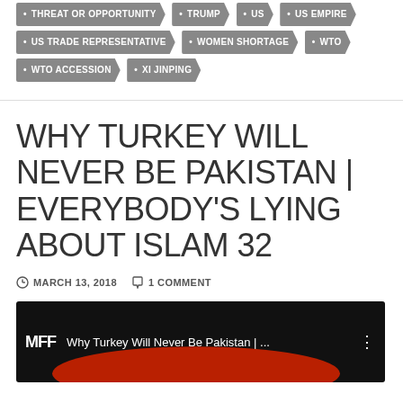THREAT OR OPPORTUNITY
TRUMP
US
US EMPIRE
US TRADE REPRESENTATIVE
WOMEN SHORTAGE
WTO
WTO ACCESSION
XI JINPING
WHY TURKEY WILL NEVER BE PAKISTAN | EVERYBODY'S LYING ABOUT ISLAM 32
MARCH 13, 2018   1 COMMENT
[Figure (screenshot): YouTube video thumbnail showing MFF logo and title 'Why Turkey Will Never Be Pakistan |...' with a red shape at the bottom on black background.]